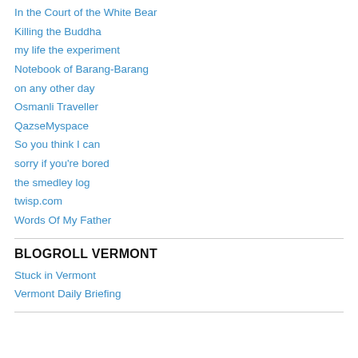In the Court of the White Bear
Killing the Buddha
my life the experiment
Notebook of Barang-Barang
on any other day
Osmanli Traveller
QazseMyspace
So you think I can
sorry if you're bored
the smedley log
twisp.com
Words Of My Father
BLOGROLL VERMONT
Stuck in Vermont
Vermont Daily Briefing